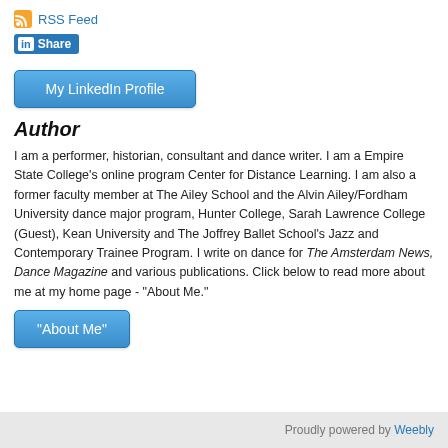[Figure (logo): RSS Feed icon and link]
[Figure (logo): LinkedIn Share button]
[Figure (other): My LinkedIn Profile button]
Author
I am a performer, historian, consultant and dance writer. I am a Empire State College's online program Center for Distance Learning.  I am also a former faculty member at The Ailey School and the Alvin Ailey/Fordham University dance major program, Hunter College, Sarah Lawrence College (Guest), Kean University and The Joffrey Ballet School's Jazz and Contemporary Trainee Program.  I write on dance for The Amsterdam News, Dance Magazine and various publications.  Click below to read more about me at my home page - "About Me."
[Figure (other): About Me button]
Proudly powered by Weebly